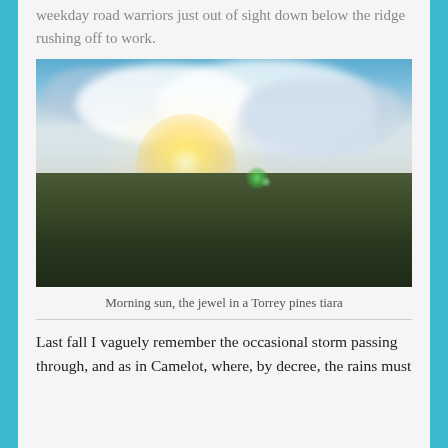weekday road warriors just out of sight down below the ridge rushing off to work.
[Figure (photo): Landscape photograph showing morning sun breaking through dramatic clouds over a ridge with silhouetted Torrey pine trees and misty terrain below. A green lens flare is visible.]
Morning sun, the jewel in a Torrey pines tiara
Last fall I vaguely remember the occasional storm passing through, and as in Camelot, where, by decree, the rains must